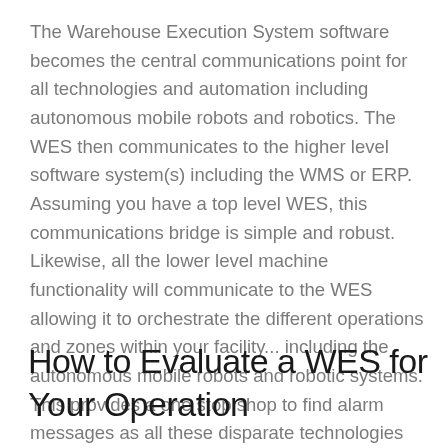The Warehouse Execution System software becomes the central communications point for all technologies and automation including autonomous mobile robots and robotics. The WES then communicates to the higher level software system(s) including the WMS or ERP. Assuming you have a top level WES, this communications bridge is simple and robust. Likewise, all the lower level machine functionality will communicate to the WES allowing it to orchestrate the different operations and zones within your facility... including the autonomous mobile robots and robotic systems. This provides a one stop shop to find alarm messages as all these disparate technologies report to the WES.
How to Evaluate a WES for Your Operation